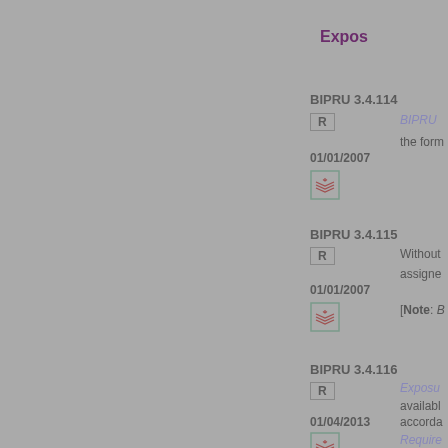Expos...
BIPRU 3.4.114
R
01/01/2007
BIPRU ... the form...
BIPRU 3.4.115
R
01/01/2007
Without... assigne...
[Note: B...
BIPRU 3.4.116
R
01/04/2013
Exposu... availabl... accorda...
Require... credit qu...